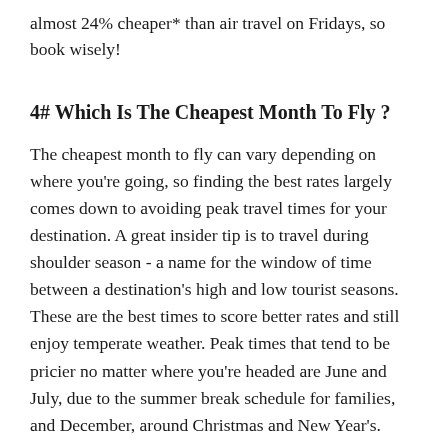almost 24% cheaper* than air travel on Fridays, so book wisely!
4# Which Is The Cheapest Month To Fly ?
The cheapest month to fly can vary depending on where you're going, so finding the best rates largely comes down to avoiding peak travel times for your destination. A great insider tip is to travel during shoulder season - a name for the window of time between a destination's high and low tourist seasons. These are the best times to score better rates and still enjoy temperate weather. Peak times that tend to be pricier no matter where you're headed are June and July, due to the summer break schedule for families, and December, around Christmas and New Year's.
5# How Can I Find The Cheapest Flights On Expedia?